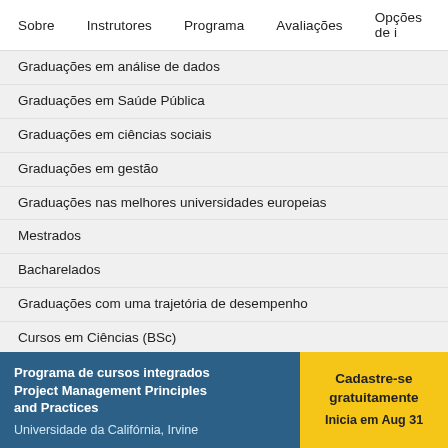Sobre    Instrutores    Programa    Avaliações    Opções de i
Graduações em análise de dados
Graduações em Saúde Pública
Graduações em ciências sociais
Graduações em gestão
Graduações nas melhores universidades europeias
Mestrados
Bacharelados
Graduações com uma trajetória de desempenho
Cursos em Ciências (BSc)
O que é uma licenciatura?
Quanto tempo leva um mestrado?
Programa de cursos integrados Project Management Principles and Practices
Universidade da Califórnia, Irvine
Cadastre-se gratuitamente
Inicia em Aug 31